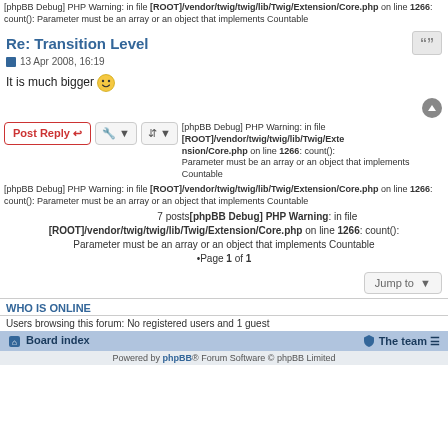[phpBB Debug] PHP Warning: in file [ROOT]/vendor/twig/twig/lib/Twig/Extension/Core.php on line 1266: count(): Parameter must be an array or an object that implements Countable
Re: Transition Level
13 Apr 2008, 16:19
It is much bigger 😄
[phpBB Debug] PHP Warning: in file [ROOT]/vendor/twig/twig/lib/Twig/Extension/Core.php on line 1266: count(): Parameter must be an array or an object that implements Countable [phpBB Debug] PHP Warning: in file [ROOT]/vendor/twig/twig/lib/Twig/Extension/Core.php on line 1266: count(): Parameter must be an array or an object that implements Countable 7 posts[phpBB Debug] PHP Warning: in file [ROOT]/vendor/twig/twig/lib/Twig/Extension/Core.php on line 1266: count(): Parameter must be an array or an object that implements Countable •Page 1 of 1
WHO IS ONLINE
Users browsing this forum: No registered users and 1 guest
Board index  The team  Powered by phpBB® Forum Software © phpBB Limited